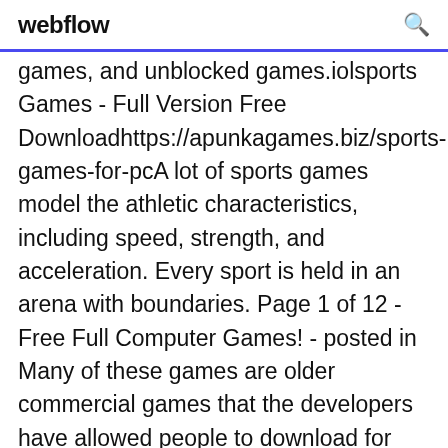webflow
games, and unblocked games.iolsports Games - Full Version Free Downloadhttps://apunkagames.biz/sports-games-for-pcA lot of sports games model the athletic characteristics, including speed, strength, and acceleration. Every sport is held in an arena with boundaries. Page 1 of 12 - Free Full Computer Games! - posted in Many of these games are older commercial games that the developers have allowed people to download for free. If you have any streetfighteronline - "Its a web version of it and its free! Albatross 18 - - Cartoon Golf Game